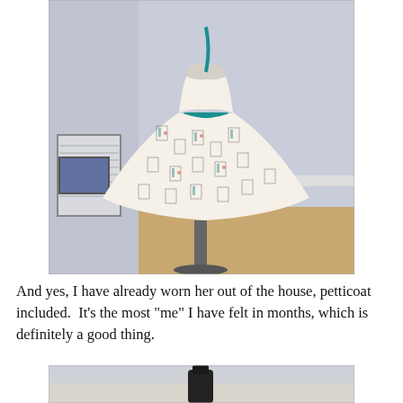[Figure (photo): A vintage-style full-skirted dress displayed on a dress form/mannequin. The dress has a white fabric with a printed pattern (appears to show figures/fashion illustrations), teal/turquoise ribbon ties at the neckline and waist belt. The dress is photographed from a side/back angle in a room with light purple-gray walls, a window with blinds on the left, and a framed picture on the wall.]
And yes, I have already worn her out of the house, petticoat included.  It's the most "me" I have felt in months, which is definitely a good thing.
[Figure (photo): Partial bottom photo, showing the beginning of another image (appears to show the bottom of the dress or another view), cropped at page bottom.]